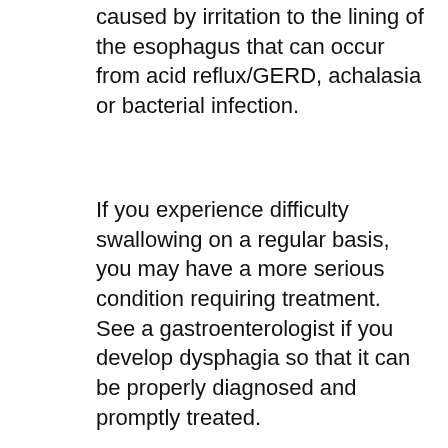caused by irritation to the lining of the esophagus that can occur from acid reflux/GERD, achalasia or bacterial infection.
If you experience difficulty swallowing on a regular basis, you may have a more serious condition requiring treatment. See a gastroenterologist if you develop dysphagia so that it can be properly diagnosed and promptly treated.
Achalasia
Barrett's Esophagus
Bile Duct Disorders